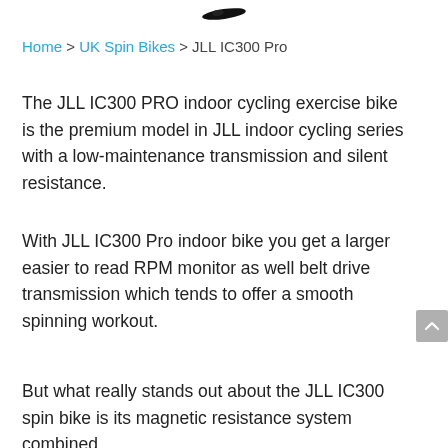[Figure (logo): Small black logo/icon at top center of page]
Home > UK Spin Bikes > JLL IC300 Pro
The JLL IC300 PRO indoor cycling exercise bike is the premium model in JLL indoor cycling series with a low-maintenance transmission and silent resistance.
With JLL IC300 Pro indoor bike you get a larger easier to read RPM monitor as well belt drive transmission which tends to offer a smooth spinning workout.
But what really stands out about the JLL IC300 spin bike is its magnetic resistance system combined